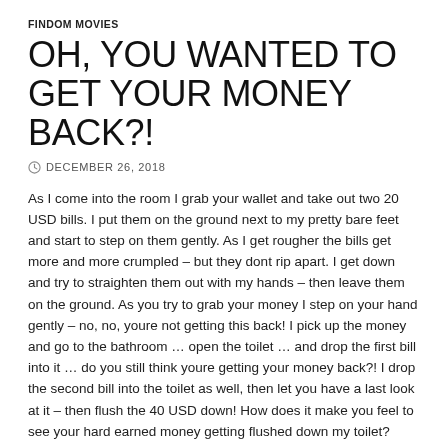FINDOM MOVIES
OH, YOU WANTED TO GET YOUR MONEY BACK?!
DECEMBER 26, 2018
As I come into the room I grab your wallet and take out two 20 USD bills. I put them on the ground next to my pretty bare feet and start to step on them gently. As I get rougher the bills get more and more crumpled – but they dont rip apart. I get down and try to straighten them out with my hands – then leave them on the ground. As you try to grab your money I step on your hand gently – no, no, youre not getting this back! I pick up the money and go to the bathroom … open the toilet … and drop the first bill into it … do you still think youre getting your money back?! I drop the second bill into the toilet as well, then let you have a last look at it – then flush the 40 USD down! How does it make you feel to see your hard earned money getting flushed down my toilet?